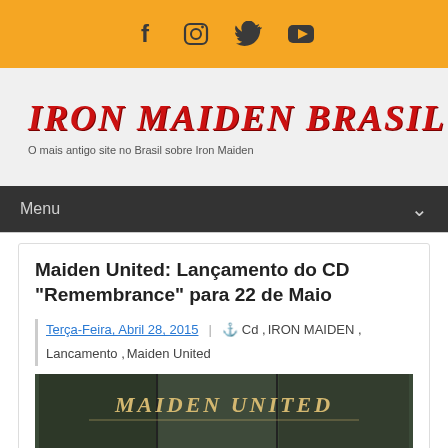Social icons: Facebook, Instagram, Twitter, YouTube
[Figure (logo): Iron Maiden Brasil logo — stylized red text with tagline 'O mais antigo site no Brasil sobre Iron Maiden']
Menu
Maiden United: Lançamento do CD "Remembrance" para 22 de Maio
Terça-Feira, Abril 28, 2015 | Cd , IRON MAIDEN , Lancamento , Maiden United
[Figure (photo): Maiden United album artwork showing 'Maiden United' text on dark green/olive background with partial CD panels visible]